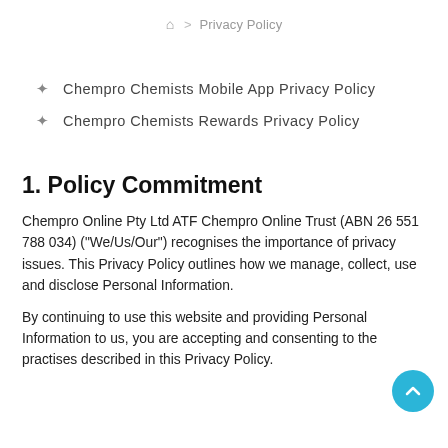🏠 > Privacy Policy
Chempro Chemists Mobile App Privacy Policy
Chempro Chemists Rewards Privacy Policy
1. Policy Commitment
Chempro Online Pty Ltd ATF Chempro Online Trust (ABN 26 551 788 034) ("We/Us/Our") recognises the importance of privacy issues. This Privacy Policy outlines how we manage, collect, use and disclose Personal Information.
By continuing to use this website and providing Personal Information to us, you are accepting and consenting to the practises described in this Privacy Policy.